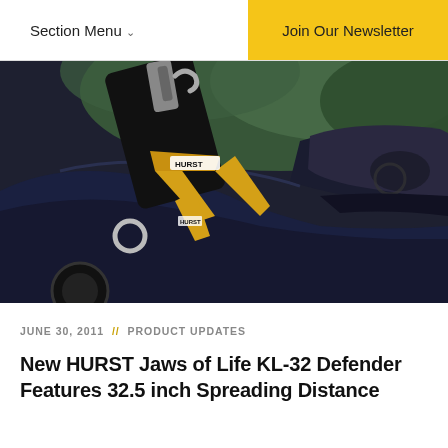Section Menu  //  Join Our Newsletter
[Figure (photo): Close-up photo of a HURST Jaws of Life KL-32 Defender tool with gold/yellow colored spreader arms being used on a dark blue car, with the car's interior visible and greenery in the background.]
JUNE 30, 2011  //  PRODUCT UPDATES
New HURST Jaws of Life KL-32 Defender Features 32.5 inch Spreading Distance